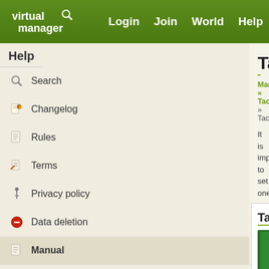virtual manager | Login | Join | World | Help
Help
Search
Changelog
Rules
Terms
Privacy policy
Data deletion
Manual
Tactics
Manual » Tactic » Tactics
It is important to set one general (Default) ta... different tactics for different situations. It can... where you use your extra players, so they d...
To create a tactic go to Squad > Senior Squ... press one of your tactics, that you wish to ch...
At the start of a new season, when the syste... for the week, it will also set your team to pla... to use a different tactic you must make the c...
Senior squad
Overview
Players
Tactics
Roles